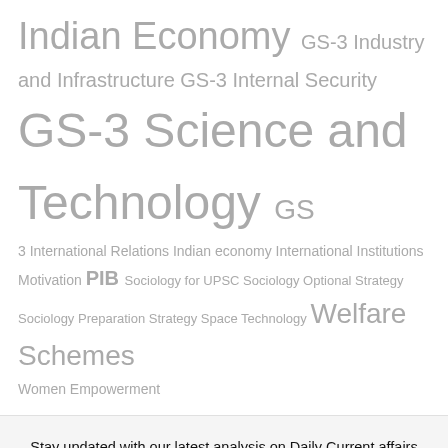Indian Economy GS-3 Industry and Infrastructure GS-3 Internal Security GS-3 Science and Technology GS 3 International Relations Indian economy International Institutions Motivation PIB Sociology for UPSC Sociology Optional Strategy Sociology Preparation Strategy Space Technology Welfare Schemes Women Empowerment
Stay updated with our latest analysis on Daily Current affairs from the Hindu, Indian Express and other leading newspapers along with our PIB and Editorial Summaries. Register now and be a part of the clan to not miss even a single update on getting one step closer to your dreams!
Enter Your Email Address
How can I help you?